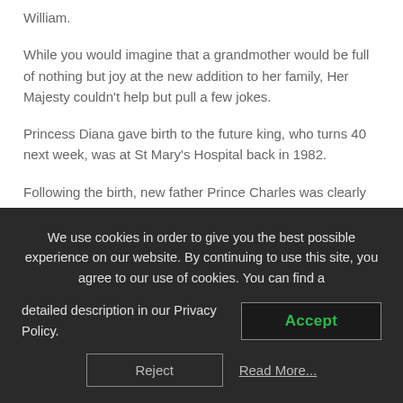William.
While you would imagine that a grandmother would be full of nothing but joy at the new addition to her family, Her Majesty couldn't help but pull a few jokes.
Princess Diana gave birth to the future king, who turns 40 next week, was at St Mary's Hospital back in 1982.
Following the birth, new father Prince Charles was clearly besotted with his son and wrote to his second cousin, The Countess Mountbatten of Burma. He reportedly penned: "The
We use cookies in order to give you the best possible experience on our website. By continuing to use this site, you agree to our use of cookies. You can find a detailed description in our Privacy Policy.
Accept
Reject
Read More...